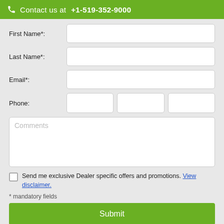Contact us at  +1-519-352-9000
First Name*:
Last Name*:
Email*:
Phone:
Comments
Send me exclusive Dealer specific offers and promotions. View disclaimer.
* mandatory fields
Submit